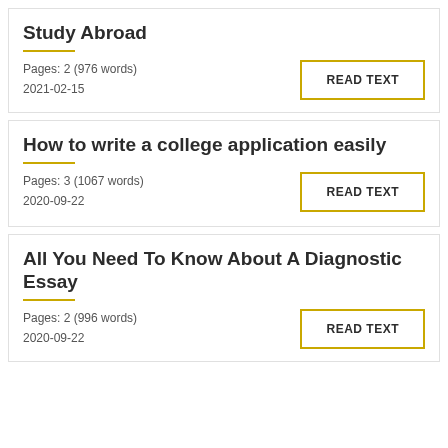Study Abroad
Pages: 2 (976 words)
2021-02-15
How to write a college application easily
Pages: 3 (1067 words)
2020-09-22
All You Need To Know About A Diagnostic Essay
Pages: 2 (996 words)
2020-09-22